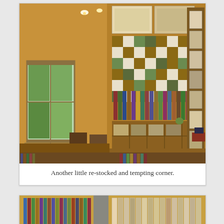[Figure (photo): Interior of a quilt shop showing fabric bolts organized on wooden shelves, a colorful patchwork quilt hanging on the wall, a window with a garden view, and various craft supplies and notions displayed throughout the warm wooden-paneled room.]
Another little re-stocked and tempting corner.
[Figure (photo): Partial view of another section of the quilt shop showing colorful fabric bolts and quilting materials arranged on shelves.]